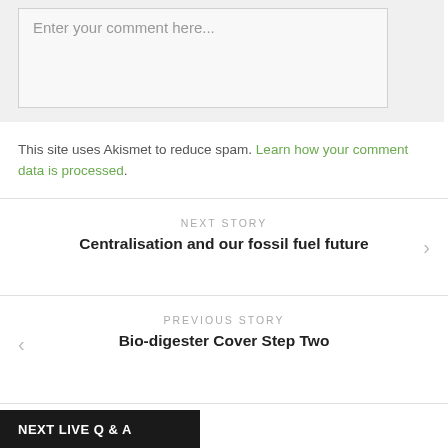[Figure (screenshot): Comment input box with placeholder text 'Enter your comment here...' on a light grey background]
This site uses Akismet to reduce spam. Learn how your comment data is processed.
NEXT STORY
Centralisation and our fossil fuel future
PREVIOUS STORY
Bio-digester Cover Step Two
NEXT LIVE Q & A